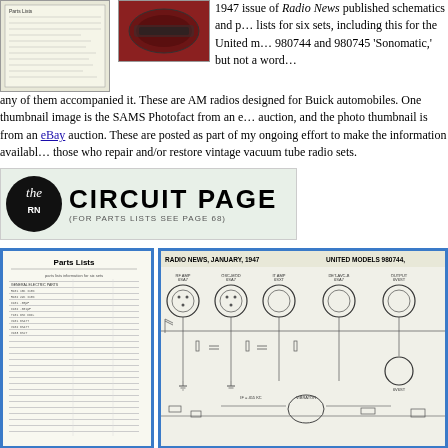[Figure (photo): Thumbnail of SAMS Photofact document page]
[Figure (photo): Thumbnail photo of a vintage Buick car radio set, reddish-brown color]
1947 issue of Radio News published schematics and parts lists for six sets, including this for the United models 980744 and 980745 'Sonomatic,' but not a word about any of them accompanied it. These are AM radios designed for Buick automobiles. One thumbnail image is the SAMS Photofact from an eBay auction, and the photo thumbnail is from an eBay auction. These are posted as part of my ongoing effort to make the information available to those who repair and/or restore vintage vacuum tube radio sets.
[Figure (logo): The Circuit Page banner with 'the RN' circular logo and text CIRCUIT PAGE (FOR PARTS LISTS SEE PAGE 68)]
[Figure (schematic): Parts Lists document thumbnail showing columnar parts data]
[Figure (schematic): Radio News January 1947 circuit schematic for United Models 980744 and 980745 Sonomatic AM car radio, showing vacuum tubes RF AMP, OSC-MOD, IT AMP, DET-AVC-B, OUTPUT and associated components]